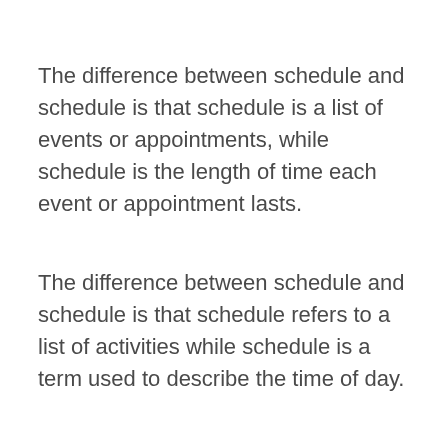The difference between schedule and schedule is that schedule is a list of events or appointments, while schedule is the length of time each event or appointment lasts.
The difference between schedule and schedule is that schedule refers to a list of activities while schedule is a term used to describe the time of day.
A schedule is a list of things to do or events